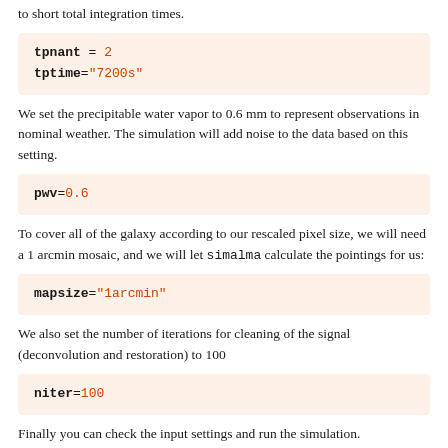to short total integration times.
tpnant = 2
tptime="7200s"
We set the precipitable water vapor to 0.6 mm to represent observations in nominal weather. The simulation will add noise to the data based on this setting.
pwv=0.6
To cover all of the galaxy according to our rescaled pixel size, we will need a 1 arcmin mosaic, and we will let simalma calculate the pointings for us:
mapsize="1arcmin"
We also set the number of iterations for cleaning of the signal (deconvolution and restoration) to 100
niter=100
Finally you can check the input settings and run the simulation.